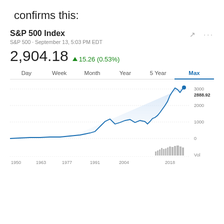confirms this:
[Figure (line-chart): S&P 500 max historical line chart from 1950 to 2018, showing exponential growth. A volume bar chart is shown below the main chart.]